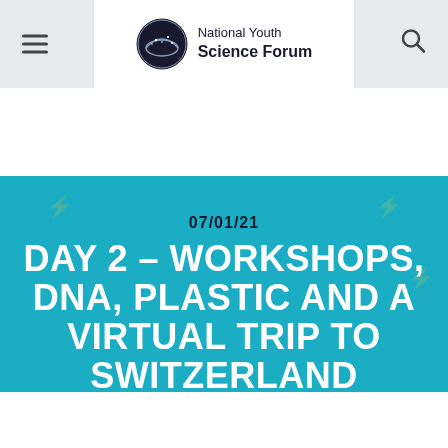National Youth Science Forum
07/01/21
DAY 2 – WORKSHOPS, DNA, PLASTIC AND A VIRTUAL TRIP TO SWITZERLAND
[Figure (photo): Partial photo strip at bottom of hero banner showing blurred/cropped photos of event participants]